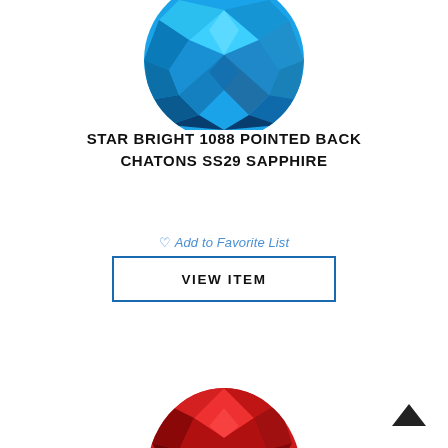[Figure (photo): Blue sapphire crystal gemstone viewed from above, showing faceted surface with bright blue and lighter blue facets]
STAR BRIGHT 1088 POINTED BACK CHATONS SS29 SAPPHIRE
♡ Add to Favorite List
VIEW ITEM
[Figure (photo): Red crystal gemstone viewed from the side/top, showing faceted surface with bright red and dark red facets, partially visible at bottom of page]